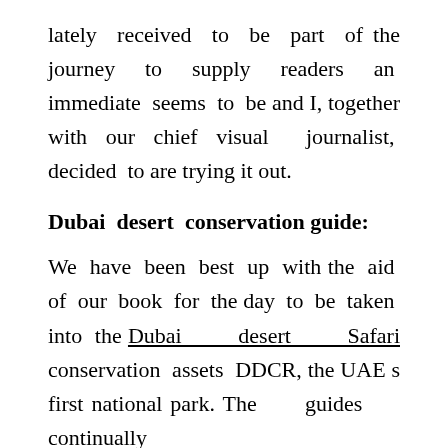lately received to be part of the journey to supply readers an immediate seems to be and I, together with our chief visual journalist, decided to are trying it out.
Dubai desert conservation guide:
We have been best up with the aid of our book for the day to be taken into the Dubai desert Safari conservation assets DDCR, the UAE s first national park. The guides continually